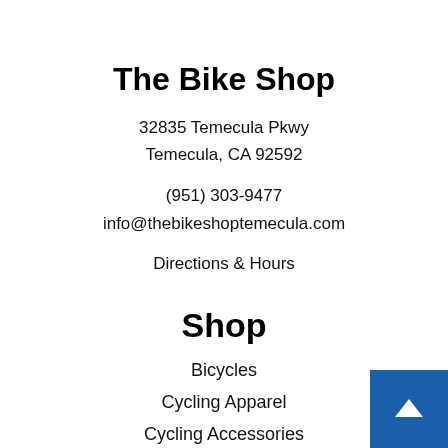The Bike Shop
32835 Temecula Pkwy
Temecula, CA 92592
(951) 303-9477
info@thebikeshoptemecula.com
Directions & Hours
Shop
Bicycles
Cycling Apparel
Cycling Accessories
Bike Components